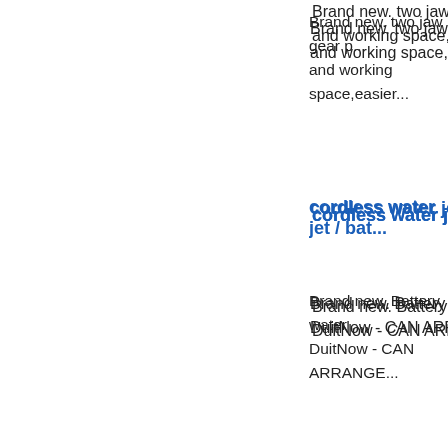Brand new. two jaw gear p... and working space,easier...
cordless water jet / bat...
Brand new. Battery water ... DuitNow - CAN ARRANGE...
mechanical road meas...
Brand new road measurem... card / online transfer / boo...
mechanical road meas...
Brand new road measurem... card / online transfer / boo...
6" exhaust fan hose /...